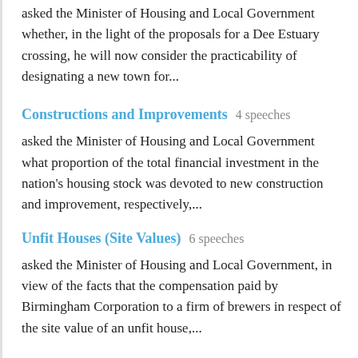asked the Minister of Housing and Local Government whether, in the light of the proposals for a Dee Estuary crossing, he will now consider the practicability of designating a new town for...
Constructions and Improvements   4 speeches
asked the Minister of Housing and Local Government what proportion of the total financial investment in the nation's housing stock was devoted to new construction and improvement, respectively,...
Unfit Houses (Site Values)   6 speeches
asked the Minister of Housing and Local Government, in view of the facts that the compensation paid by Birmingham Corporation to a firm of brewers in respect of the site value of an unfit house,...